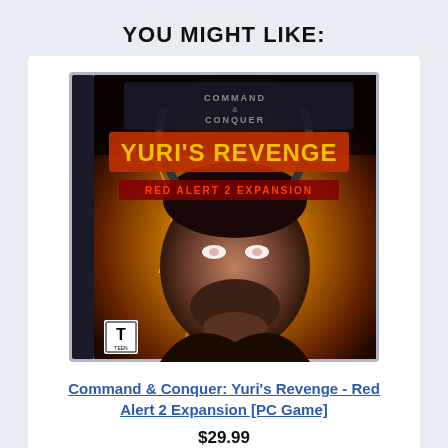YOU MIGHT LIKE:
[Figure (photo): PC game box art for Command & Conquer: Yuri's Revenge - Red Alert 2 Expansion, showing a menacing man's face with glowing eyes against a yellow energy background, with the game title at the top and ESRB Teen rating at the bottom left.]
Command & Conquer: Yuri's Revenge - Red Alert 2 Expansion [PC Game]
$29.99